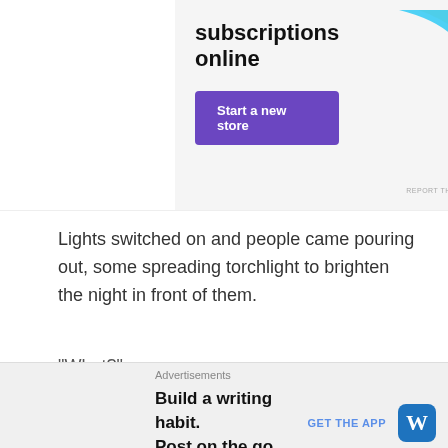[Figure (other): Advertisement banner with purple button reading 'Start a new store', headline 'subscriptions online', and a cyan graphic shape on the right side.]
Lights switched on and people came pouring out, some spreading torchlight to brighten the night in front of them.
"What?"
"What happened?"
"Who was that?"
"Did you hear...?"
"Mom, I am afraid."
"Hey, do you know?"
Pushing towards the location, they saw the entire scene...
[Figure (other): Bottom advertisement: 'Build a writing habit. Post on the go.' with GET THE APP button and WordPress logo.]